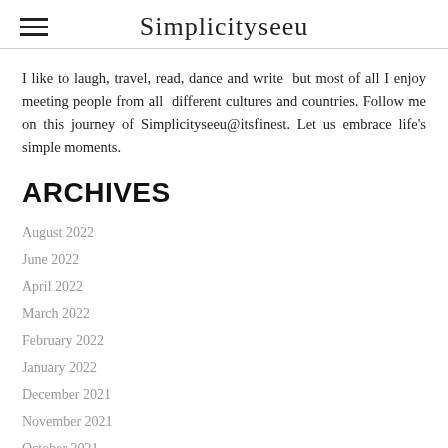Simplicityseeu
I like to laugh, travel, read, dance and write  but most of all I enjoy meeting people from all  different cultures and countries. Follow me on this journey of Simplicityseeu@itsfinest. Let us embrace life's simple moments.
ARCHIVES
August 2022
June 2022
April 2022
March 2022
February 2022
January 2022
December 2021
November 2021
October 2021